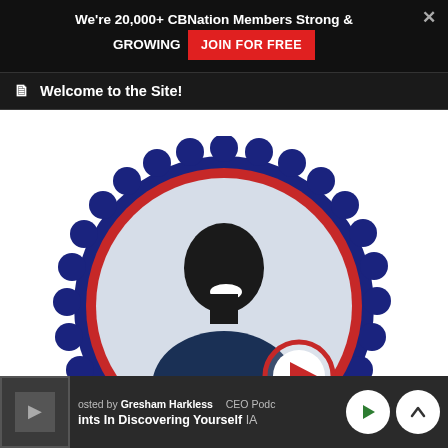We're 20,000+ CBNation Members Strong & GROWING  JOIN FOR FREE
Welcome to the Site!
[Figure (photo): Smiling man in dark polo shirt inside a dark-blue scalloped badge/seal with a red border and red play button icon in lower right]
Hosted by Gresham Harkless  CEO Podc  ints In Discovering Yourself  IA